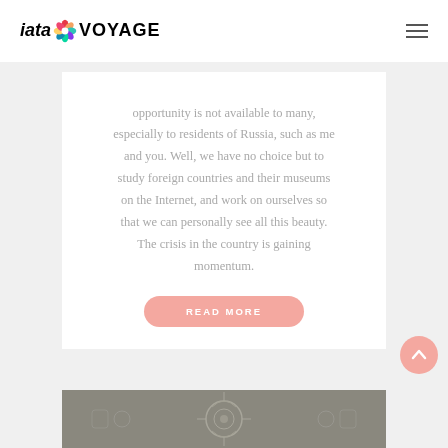iatal VOYAGE
opportunity is not available to many, especially to residents of Russia, such as me and you. Well, we have no choice but to study foreign countries and their museums on the Internet, and work on ourselves so that we can personally see all this beauty. The crisis in the country is gaining momentum.
READ MORE
[Figure (photo): Ornate ceiling with baroque architectural details, viewed from below]